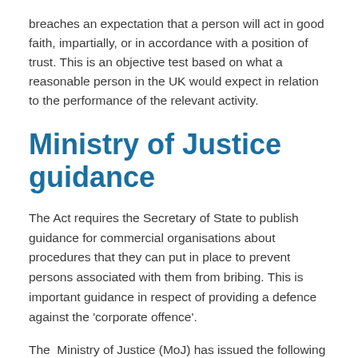breaches an expectation that a person will act in good faith, impartially, or in accordance with a position of trust. This is an objective test based on what a reasonable person in the UK would expect in relation to the performance of the relevant activity.
Ministry of Justice guidance
The Act requires the Secretary of State to publish guidance for commercial organisations about procedures that they can put in place to prevent persons associated with them from bribing. This is important guidance in respect of providing a defence against the 'corporate offence'.
The Ministry of Justice (MoJ) has issued the following formal, statutory guidance: